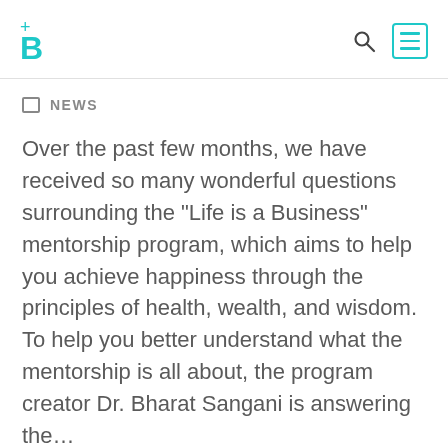[Figure (logo): Logo with teal plus sign and letter B]
NEWS
Over the past few months, we have received so many wonderful questions surrounding the “Life is a Business” mentorship program, which aims to help you achieve happiness through the principles of health, wealth, and wisdom. To help you better understand what the mentorship is all about, the program creator Dr. Bharat Sangani is answering the…
READ MORE